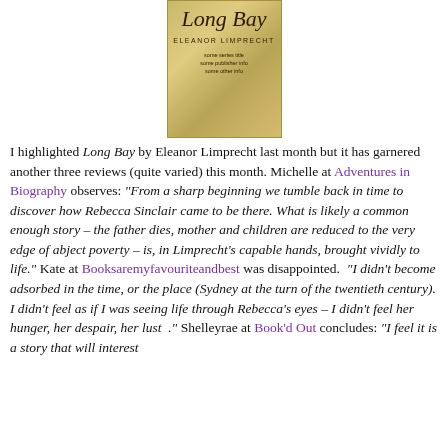[Figure (illustration): Book cover of 'Long Bay' by Eleanor Limprecht — handwritten-style script title on a worn parchment/golden-tan background]
I highlighted Long Bay by Eleanor Limprecht last month but it has garnered another three reviews (quite varied) this month. Michelle at Adventures in Biography observes: “From a sharp beginning we tumble back in time to discover how Rebecca Sinclair came to be there. What is likely a common enough story – the father dies, mother and children are reduced to the very edge of abject poverty – is, in Limprecht’s capable hands, brought vividly to life.” Kate at Booksaremyfavouriteandbest was disappointed. “I didn’t become adsorbed in the time, or the place (Sydney at the turn of the twentieth century). I didn’t feel as if I was seeing life through Rebecca’s eyes – I didn’t feel her hunger, her despair, her lust .” Shelleyrae at Book’d Out concludes: “I feel it is a story that will interest